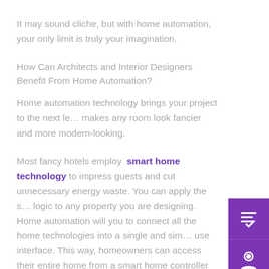It may sound cliche, but with home automation, your only limit is truly your imagination.
How Can Architects and Interior Designers Benefit From Home Automation?
Home automation technology brings your project to the next le... makes any room look fancier and more modern-looking.
Most fancy hotels employ smart home technology to impress guests and cut unnecessary energy waste. You can apply the same logic to any property you are designing. Home automation will you to connect all the home technologies into a single and simple to use interface. This way, homeowners can access their entire home from a smart home controller connected to an app on their phone or tablet. For example, they can dim lights, play music, turn up the
[Figure (infographic): Purple sidebar with four icon buttons: a checklist/form icon, a headset/support icon, a chat bubble with ellipsis icon, and an X/close icon.]